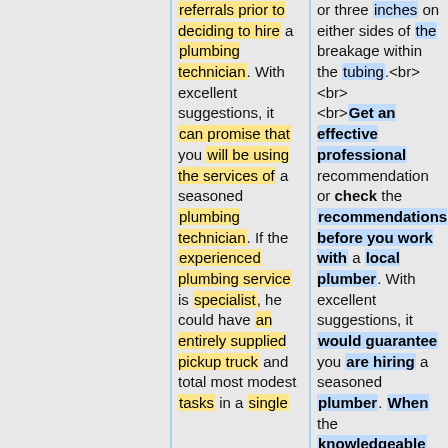referrals prior to deciding to hire a plumbing technician. With excellent suggestions, it can promise that you will be using the services of a seasoned plumbing technician. If the experienced plumbing service is specialist, he could have an entirely supplied pickup truck and total most modest tasks in a single visit, but that...
or three inches on either sides of the breakage within the tubing.<br><br><br>Get an effective professional recommendation or check the recommendations before you work with a local plumber. With excellent suggestions, it would guarantee you are hiring a seasoned plumber. When the knowledgeable...